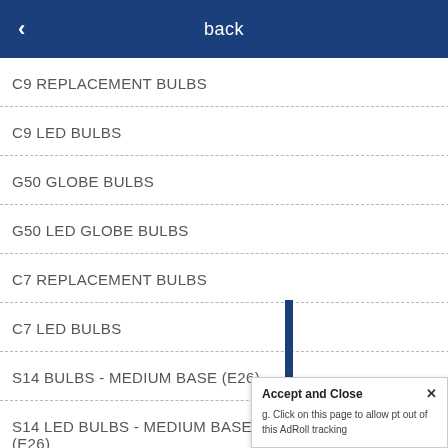< back
C9 REPLACEMENT BULBS
C9 LED BULBS
G50 GLOBE BULBS
G50 LED GLOBE BULBS
C7 REPLACEMENT BULBS
C7 LED BULBS
S14 BULBS - MEDIUM BASE (E26)
S14 LED BULBS - MEDIUM BASE (E26)
CO 80112
ore
g the Christmas light aff that has years of oor lighting projects istmas lights and the
Accept and Close ×
g. Click on this page to allow pt out of this AdRoll tracking